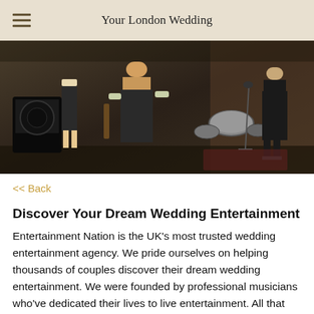Your London Wedding
[Figure (photo): A band performing in a rustic brick venue. Multiple musicians visible including a guitarist in the foreground and a drummer in the background.]
<< Back
Discover Your Dream Wedding Entertainment
Entertainment Nation is the UK's most trusted wedding entertainment agency. We pride ourselves on helping thousands of couples discover their dream wedding entertainment. We were founded by professional musicians who've dedicated their lives to live entertainment. All that knowledge and experience goes into every booking, so you